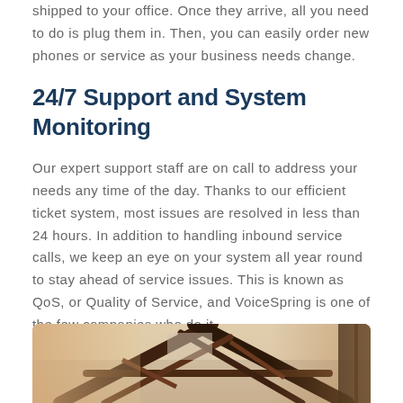shipped to your office. Once they arrive, all you need to do is plug them in. Then, you can easily order new phones or service as your business needs change.
24/7 Support and System Monitoring
Our expert support staff are on call to address your needs any time of the day. Thanks to our efficient ticket system, most issues are resolved in less than 24 hours. In addition to handling inbound service calls, we keep an eye on your system all year round to stay ahead of service issues. This is known as QoS, or Quality of Service, and VoiceSpring is one of the few companies who do it.
Flexible On the Go Integration
[Figure (photo): A photo showing structural metal beams or scaffolding in an outdoor setting with warm tones]